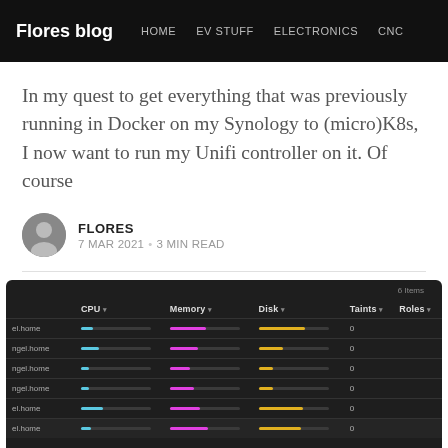Flores blog  HOME  EV STUFF  ELECTRONICS  CNC
In my quest to get everything that was previously running in Docker on my Synology to (micro)K8s, I now want to run my Unifi controller on it. Of course
FLORES  7 MAR 2021 • 3 MIN READ
[Figure (screenshot): Dark-themed Kubernetes node listing UI showing 6 items with columns CPU, Memory, Disk, Taints, Roles. Rows show node names partially visible (ending in .home) with colored bar indicators: cyan for CPU, magenta for Memory, yellow for Disk. Taints column shows 0 for all rows.]